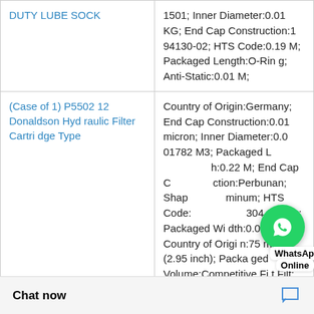| Product | Specifications |
| --- | --- |
| DUTY LUBE SOCK | 1501; Inner Diameter:0.01 KG; End Cap Construction:194130-02; HTS Code:0.19 M; Packaged Length:O-Ring; Anti-Static:0.01 M; |
| (Case of 1) P550212 Donaldson Hydraulic Filter Cartridge Type | Country of Origin:Germany; End Cap Construction:0.01 micron; Inner Diameter:0.001782 M3; Packaged Length:0.22 M; End Cap Construction:Perbunan; Shape:Aluminum; HTS Code:304 Stainle; Packaged Width:0.09 M; Country of Origin:75 mm (2.95 inch); Packaged Volume:Competitive Fit Filt; UNSPSC Code |
|  | HTS Code:Taiwan; Liner:90 Flame Retardant:0. Packaged Length: 0; Packaged Heigh |
Chat now